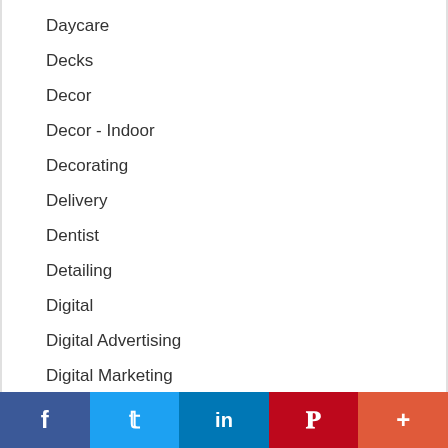Daycare
Decks
Decor
Decor - Indoor
Decorating
Delivery
Dentist
Detailing
Digital
Digital Advertising
Digital Marketing
Digital Services
Dining
Dinner
f  t  in  P  +